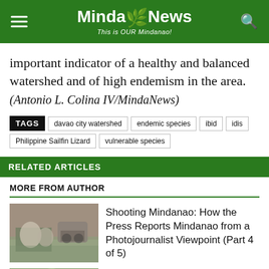MindaNews – This is OUR Mindanao!
important indicator of a healthy and balanced watershed and of high endemism in the area.
(Antonio L. Colina IV/MindaNews)
TAGS: davao city watershed | endemic species | ibid | idis | Philippine Sailfin Lizard | vulnerable species
RELATED ARTICLES
MORE FROM AUTHOR
[Figure (photo): People in flood waters with a vehicle, Mindanao press photo]
Shooting Mindanao: How the Press Reports Mindanao from a Photojournalist Viewpoint (Part 4 of 5)
[Figure (photo): Green vegetation aerial or ground photo]
Waste-to-energy 'can't solve' Davao